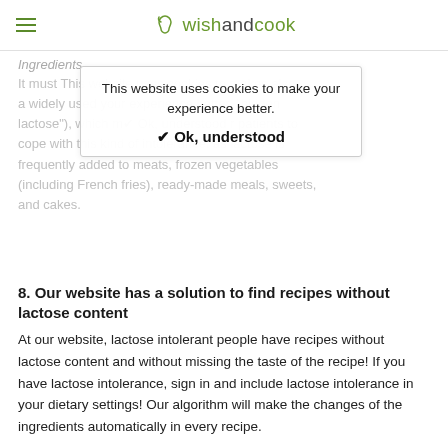wish and cook
Ingredients
It must be noted that lactose is also a widely used additive (called "hidden lactose"), which makes it even harder for patients to cope with this kind of intolerance, as lactose is frequently added to meats, frozen vegetables (including French fries), ready-made meals, sweets, and cakes.
This website uses cookies to make your experience better.
✔ Ok, understood
8. Our website has a solution to find recipes without lactose content
At our website, lactose intolerant people have recipes without lactose content and without missing the taste of the recipe! If you have lactose intolerance, sign in and include lactose intolerance in your dietary settings! Our algorithm will make the changes of the ingredients automatically in every recipe.